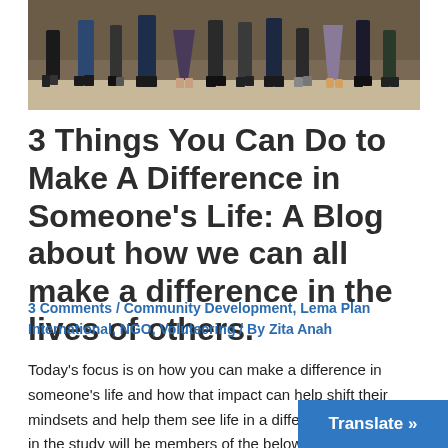[Figure (photo): Group photo of multiple people standing together, showing only from waist down, feet and legs visible against a warm-toned background.]
3 Things You Can Do to Make A Difference in Someone’s Life: A Blog about how we can all make a difference in the lives of others.
3 Comments / Community Development, Lema Plan International, NGO, Voluteering / By Zita Anah
Today’s focus is on how you can make a difference in someone’s life and how that impact can help shift their mindsets and help them see life in a different light. Cases in the study will be members of the below-average margin survivi… no future hope. The 3 things you can